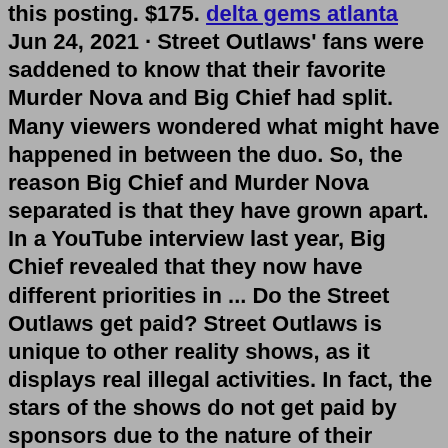this posting. $175. delta gems atlanta Jun 24, 2021 · Street Outlaws' fans were saddened to know that their favorite Murder Nova and Big Chief had split. Many viewers wondered what might have happened in between the duo. So, the reason Big Chief and Murder Nova separated is that they have grown apart. In a YouTube interview last year, Big Chief revealed that they now have different priorities in ... Do the Street Outlaws get paid? Street Outlaws is unique to other reality shows, as it displays real illegal activities. In fact, the stars of the shows do not get paid by sponsors due to the nature of their activities. The show is filled with real danger and consequences, which make it one of the more compelling reality TV shows on Discovery. Today we are at Alamo City City Motorplex for Winter Meltdown 3. I was able to hangout with Shawn and Phantom from Street Outlaws and don't let the stuff yo...The Street Outlaws star also owns his own car part and repair shop in Oklahoma. Who is the richest on Street